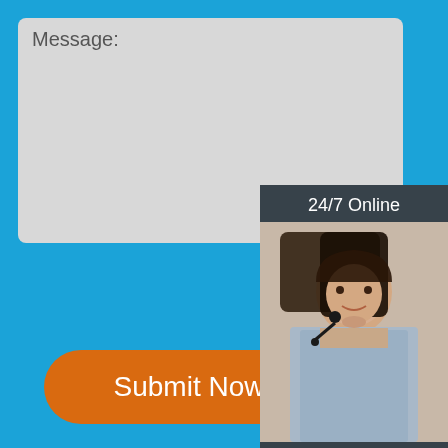Message:
[Figure (screenshot): Submit Now button - orange rounded rectangle with white text]
[Figure (infographic): 24/7 Online chat widget with photo of woman with headset, 'Click here for free chat!' text, and orange QUOTATION button]
Privacy Policy | Sitemap | reasonable price glass metal ball bow earrings ex-factory price | which excellent quality irregular mirror earrings factory wholesale | china fashionable wave bracelet special wholesale